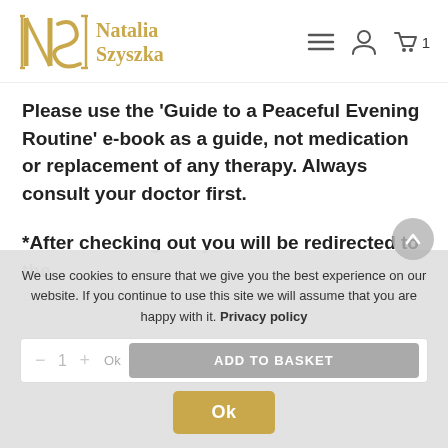Natalia Szyszka
Please use the 'Guide to a Peaceful Evening Routine' e-book as a guide, not medication or replacement of any therapy. Always consult your doctor first.
*After checking out you will be redirected to the checkout complete page where you will be able to
We use cookies to ensure that we give you the best experience on our website. If you continue to use this site we will assume that you are happy with it. Privacy policy
Ok